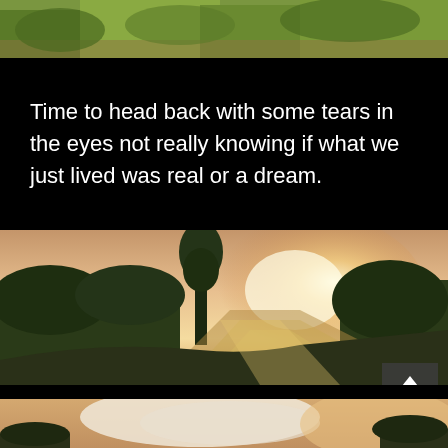[Figure (photo): Top portion of a tropical outdoor scene with green grass and foliage]
Time to head back with some tears in the eyes not really knowing if what we just lived was real or a dream.
[Figure (photo): Tropical river scene at sunset with tall tree, lush vegetation, and reflective water with glowing sky]
[Figure (photo): Bottom portion showing sky with large cloud and trees at sunset]